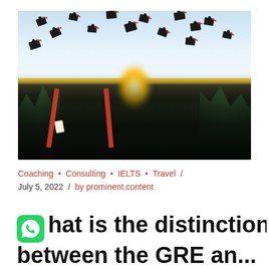[Figure (photo): Graduation photo showing graduates in black gowns and mortarboard caps throwing their caps in the air, with sunlight bursting from behind them and trees in the background]
Coaching • Consulting • IELTS • Travel / July 5, 2022 / by prominent.content
What is the distinction between the GRE and...